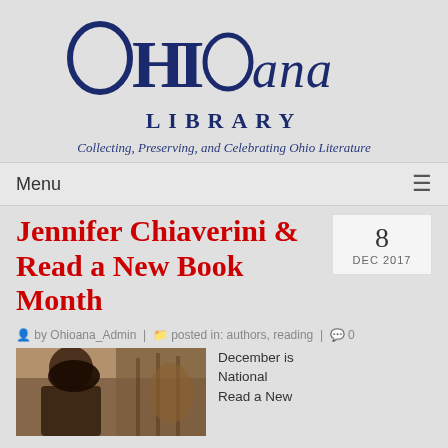[Figure (logo): Ohioana Library logo with large stylized OHIOana text and LIBRARY underneath]
Collecting, Preserving, and Celebrating Ohio Literature
Menu
Jennifer Chiaverini & Read a New Book Month
8 DEC 2017
by Ohioana_Admin | posted in: authors, reading | 0
[Figure (photo): Photo of a woman with dark hair in a bookstore or library setting]
December is National Read a New